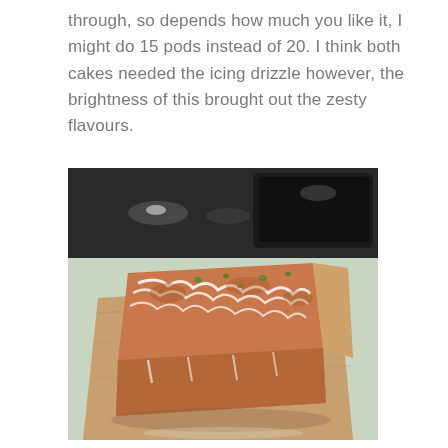through, so depends how much you like it, I might do 15 pods instead of 20. I think both cakes needed the icing drizzle however, the brightness of this brought out the zesty flavours.
[Figure (photo): A loaf cake with white icing drizzle and green herb garnish, sitting on a wooden board. A black kitchen appliance is visible in the background on a light green surface.]